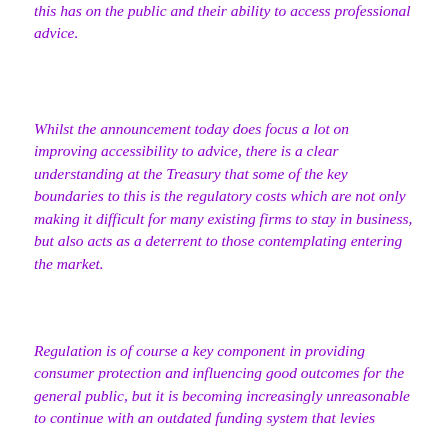this has on the public and their ability to access professional advice.
Whilst the announcement today does focus a lot on improving accessibility to advice, there is a clear understanding at the Treasury that some of the key boundaries to this is the regulatory costs which are not only making it difficult for many existing firms to stay in business, but also acts as a deterrent to those contemplating entering the market.
Regulation is of course a key component in providing consumer protection and influencing good outcomes for the general public, but it is becoming increasingly unreasonable to continue with an outdated funding system that levies